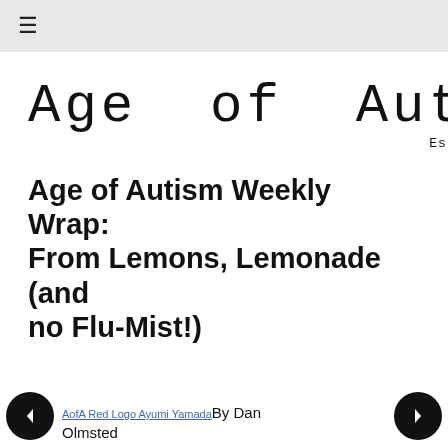≡
[Figure (logo): Age of Autism logo in typewriter-style font with red letter 'i', and 'Established 2007' below right]
Age of Autism Weekly Wrap: From Lemons, Lemonade (and no Flu-Mist!)
AofA Red Logo Ayumi YamadaBy Dan Olmsted